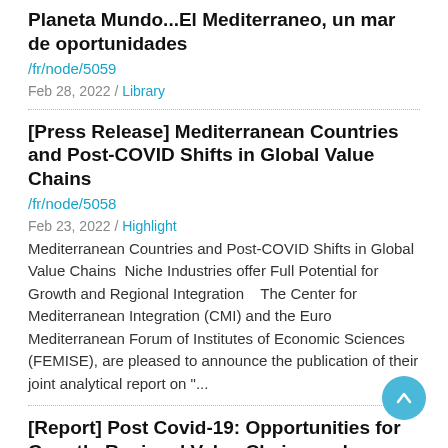Planeta Mundo...El Mediterraneo, un mar de oportunidades
/fr/node/5059
Feb 28, 2022 / Library
[Press Release] Mediterranean Countries and Post-COVID Shifts in Global Value Chains
/fr/node/5058
Feb 23, 2022 / Highlight
Mediterranean Countries and Post-COVID Shifts in Global Value Chains  Niche Industries offer Full Potential for Growth and Regional Integration    The Center for Mediterranean Integration (CMI) and the Euro Mediterranean Forum of Institutes of Economic Sciences (FEMISE), are pleased to announce the publication of their joint analytical report on "...
[Report] Post Covid-19: Opportunities for Growth, Regional Value Chains and Mediterranean Integration